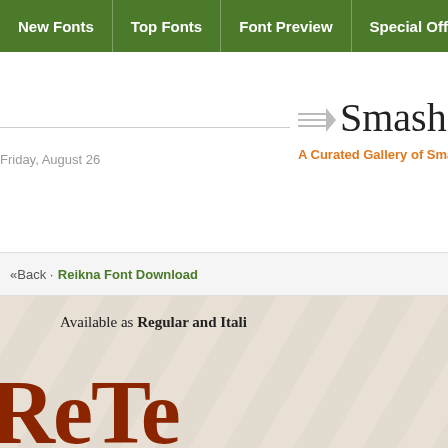New Fonts | Top Fonts | Font Preview | Special Off
Friday, August 26
Smash
A Curated Gallery of Smas
«Back · Reikna Font Download
[Figure (screenshot): Font preview image showing 'Available as Regular and Itali' text and large decorative brown serif letters on a textured beige background]